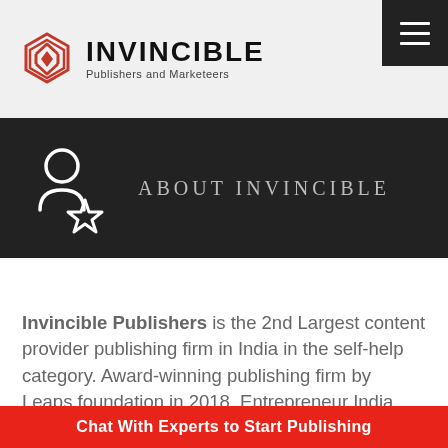INVINCIBLE Publishers and Marketeers
ABOUT INVINCIBLE
Invincible Publishers is the 2nd Largest content provider publishing firm in India in the self-help category. Award-winning publishing firm by Leaps foundation in 2018, Entrepreneur India
Chat With Experts to Start Publishing